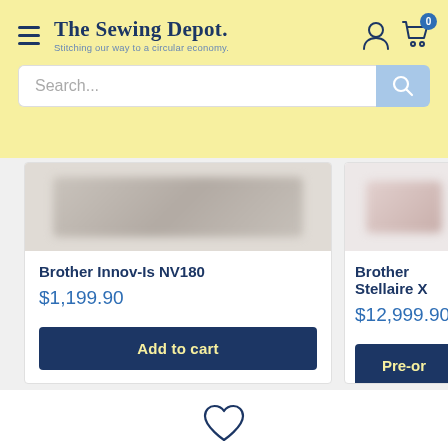The Sewing Depot — Stitching our way to a circular economy
Search...
Brother Innov-Is NV180
$1,199.90
Add to cart
Brother Stellaire X
$12,999.90
Pre-or...
[Figure (illustration): Heart / wishlist icon at bottom center of page]